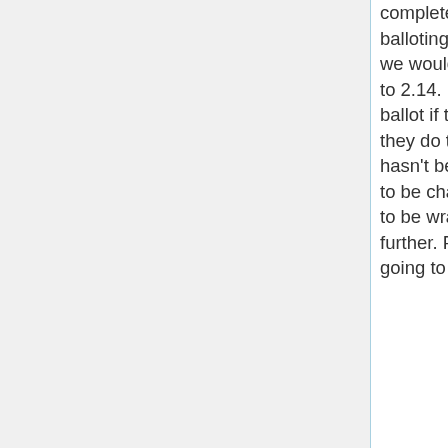complete reconciliation before re-balloting or publishing. Ken: Hearing that we would like to deprecate 2.08 and add to 2.14. Lorraine: Can you go back to ballot if the changes aren't applied? If they do that, they should declare what hasn't been applied. Austin: 2.08 needs to be changed to reflect that that it needs to be wrapped up before doing anything further. Freida notes that the GOC is going to